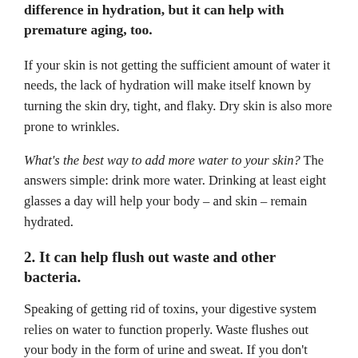difference in hydration, but it can help with premature aging, too.
If your skin is not getting the sufficient amount of water it needs, the lack of hydration will make itself known by turning the skin dry, tight, and flaky. Dry skin is also more prone to wrinkles.
What's the best way to add more water to your skin? The answers simple: drink more water. Drinking at least eight glasses a day will help your body – and skin – remain hydrated.
2. It can help flush out waste and other bacteria.
Speaking of getting rid of toxins, your digestive system relies on water to function properly. Waste flushes out your body in the form of urine and sweat. If you don't drink water, you don't flush out waste.